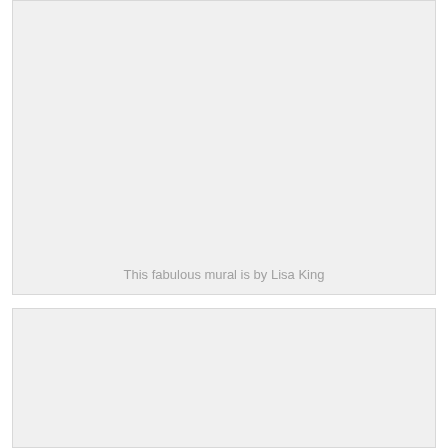[Figure (photo): Large placeholder image box with light gray background. Contains the text 'This fabulous mural is by Lisa King' near the bottom center.]
[Figure (photo): Smaller placeholder image box with light gray background below the first image.]